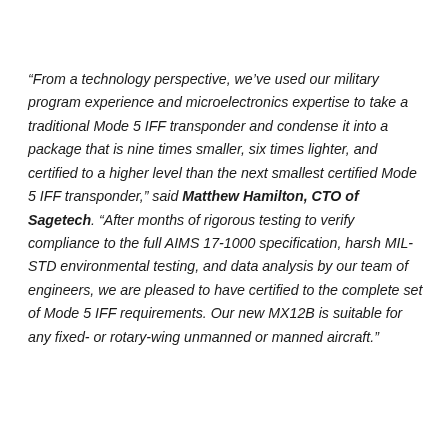“From a technology perspective, we’ve used our military program experience and microelectronics expertise to take a traditional Mode 5 IFF transponder and condense it into a package that is nine times smaller, six times lighter, and certified to a higher level than the next smallest certified Mode 5 IFF transponder,” said Matthew Hamilton, CTO of Sagetech. “After months of rigorous testing to verify compliance to the full AIMS 17-1000 specification, harsh MIL-STD environmental testing, and data analysis by our team of engineers, we are pleased to have certified to the complete set of Mode 5 IFF requirements. Our new MX12B is suitable for any fixed- or rotary-wing unmanned or manned aircraft.”